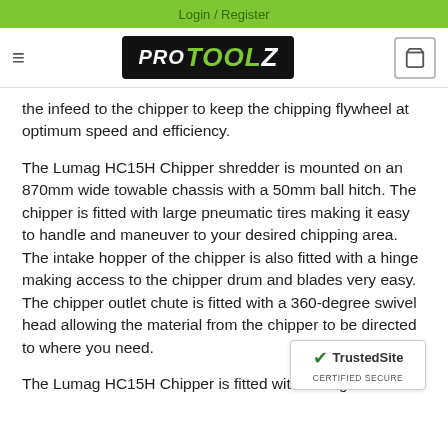Login / Register
[Figure (logo): ProToolZ logo with hamburger menu and cart icon showing 0]
the infeed to the chipper to keep the chipping flywheel at optimum speed and efficiency.
The Lumag HC15H Chipper shredder is mounted on an 870mm wide towable chassis with a 50mm ball hitch. The chipper is fitted with large pneumatic tires making it easy to handle and maneuver to your desired chipping area. The intake hopper of the chipper is also fitted with a hinge making access to the chipper drum and blades very easy. The chipper outlet chute is fitted with a 360-degree swivel head allowing the material from the chipper to be directed to where you need.
The Lumag HC15H Chipper is fitted with emergen
[Figure (logo): TrustedSite Certified Secure badge]